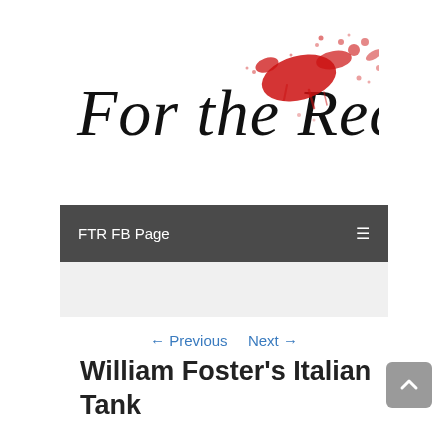[Figure (logo): For the Record blog logo in handwritten/script font with red paint splatter effect]
FTR FB Page
← Previous   Next →
William Foster's Italian Tank